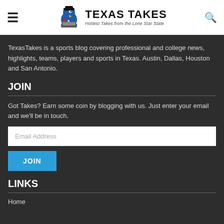TEXAS TAKES — Hottest Takes from the Lone Star State
TexasTakes is a sports blog covering professional and college news, highlights, teams, players and sports in Texas. Austin, Dallas, Houston and San Antonio.
JOIN
Got Takes? Earn some coin by blogging with us. Just enter your email and we'll be in touch.
Email Address
JOIN
LINKS
Home